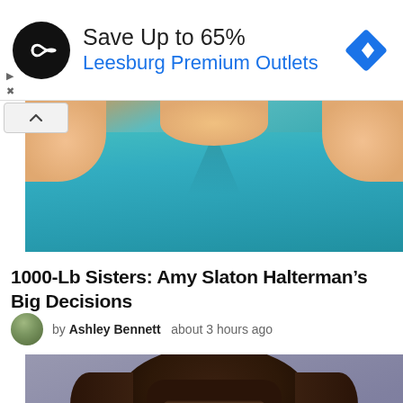[Figure (screenshot): Advertisement banner: black circular logo with infinity-style icon, text 'Save Up to 65%' and 'Leesburg Premium Outlets' in blue, blue diamond navigation icon on right]
[Figure (photo): Partial photo of a person wearing a teal/turquoise top, showing torso and arms, no face visible]
1000-Lb Sisters: Amy Slaton Halterman’s Big Decisions
by Ashley Bennett   about 3 hours ago
[Figure (photo): Woman with dark brown hair with bangs, wearing purple-rimmed glasses, with wide surprised eyes, blue-gray background]